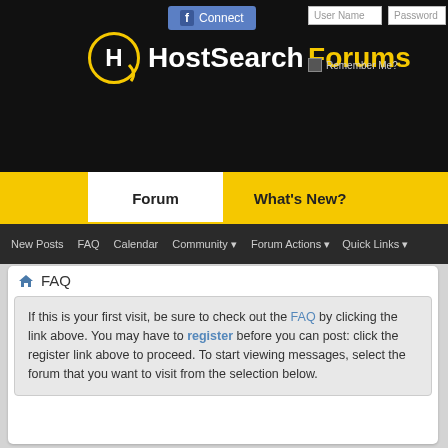[Figure (screenshot): HostSearch Forums website header with black background, logo, Facebook Connect button, User Name and Password fields, Remember Me checkbox, yellow navigation bar with Forum and What's New buttons, dark navigation bar with New Posts, FAQ, Calendar, Community, Forum Actions, Quick Links links]
FAQ
If this is your first visit, be sure to check out the FAQ by clicking the link above. You may have to register before you can post: click the register link above to proceed. To start viewing messages, select the forum that you want to visit from the selection below.
HostSearch Forums FAQ
Here you can find answers to questions about how the board works. Use the links or search box below to find your way around.
Board FAQ